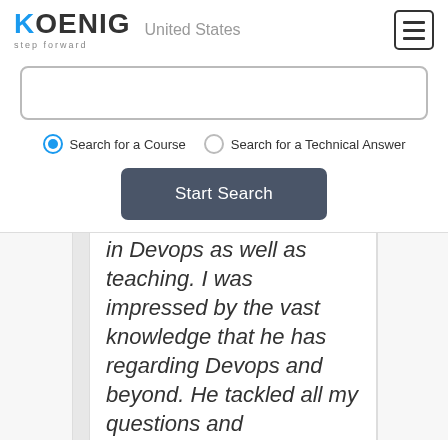[Figure (logo): Koenig Solutions logo with 'step forward' tagline and 'United States' country label, plus hamburger menu icon]
[Figure (screenshot): Search input box, radio buttons for 'Search for a Course' (selected) and 'Search for a Technical Answer', and a 'Start Search' button]
in Devops as well as teaching. I was impressed by the vast knowledge that he has regarding Devops and beyond. He tackled all my questions and